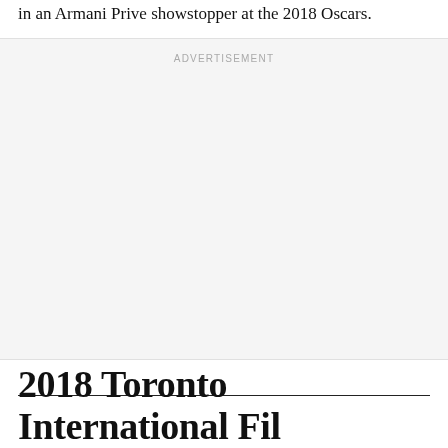in an Armani Prive showstopper at the 2018 Oscars.
[Figure (other): Advertisement placeholder box with light gray background and 'ADVERTISEMENT' label at top center]
2018 Toronto International Fil…